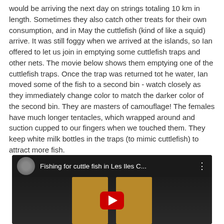would be arriving the next day on strings totaling 10 km in length. Sometimes they also catch other treats for their own consumption, and in May the cuttlefish (kind of like a squid) arrive. It was still foggy when we arrived at the islands, so Ian offered to let us join in emptying some cuttlefish traps and other nets. The movie below shows them emptying one of the cuttlefish traps. Once the trap was returned tot he water, Ian moved some of the fish to a second bin - watch closely as they immediately change color to match the darker color of the second bin. They are masters of camouflage! The females have much longer tentacles, which wrapped around and suction cupped to our fingers when we touched them. They keep white milk bottles in the traps (to mimic cuttlefish) to attract more fish.
[Figure (screenshot): YouTube video thumbnail showing 'Fishing for cuttle fish in Les Iles C...' with a dark scene of a person in tan/khaki pants and a red YouTube play button in the center.]